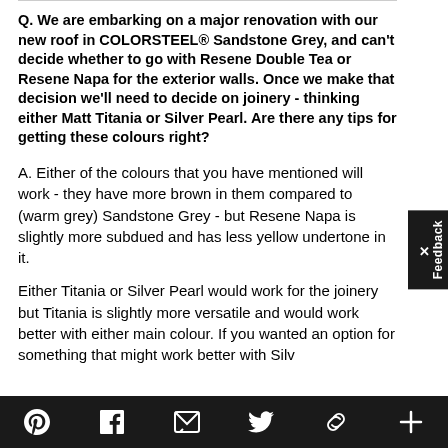Q. We are embarking on a major renovation with our new roof in COLORSTEEL® Sandstone Grey, and can't decide whether to go with Resene Double Tea or Resene Napa for the exterior walls. Once we make that decision we'll need to decide on joinery - thinking either Matt Titania or Silver Pearl. Are there any tips for getting these colours right?
A. Either of the colours that you have mentioned will work - they have more brown in them compared to (warm grey) Sandstone Grey - but Resene Napa is slightly more subdued and has less yellow undertone in it.
Either Titania or Silver Pearl would work for the joinery but Titania is slightly more versatile and would work better with either main colour. If you wanted an option for something that might work better with Silv...